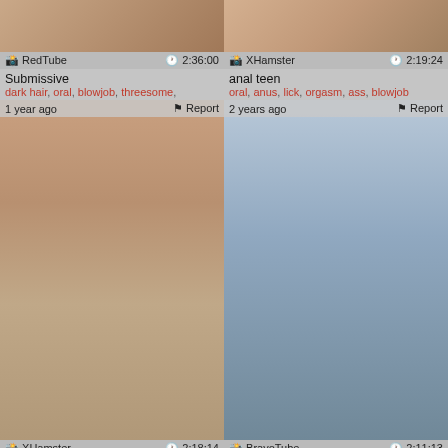[Figure (screenshot): Top-left video thumbnail - Submissive, RedTube, 2:36:00]
RedTube | 2:36:00
Submissive
dark hair, oral, blowjob, threesome,
[Figure (screenshot): Top-right video thumbnail - anal teen, XHamster, 2:19:24]
XHamster | 2:19:24
anal teen
oral, anus, lick, orgasm, ass, blowjob
[Figure (screenshot): Middle-left video thumbnail - PTS-466, XHamster, 2:18:14, 1 year ago]
1 year ago | Report
XHamster | 2:18:14
PTS-466
anal, blowjob, couple, domination,
[Figure (screenshot): Middle-right video thumbnail - in the public library, BravoTube, 2:11:13, 2 years ago]
2 years ago | Report
BravoTube | 2:11:13
in the public library, everything is p...
fucking, public, oldy, doggystyle,
[Figure (screenshot): Bottom-left video thumbnail - AN EVENING TO REMEMBER, PornHub, 2:09:27, 19 days ago]
19 days ago | Report
PornHub | 2:09:27
"AN EVENING TO REMEMBER" :: 60FP...
[Figure (screenshot): Bottom-right video thumbnail - Just married sex 7, XHamster, 2:04:26, 2 years ago]
2 years ago | Report
XHamster | 2:04:26
Just married sex 7